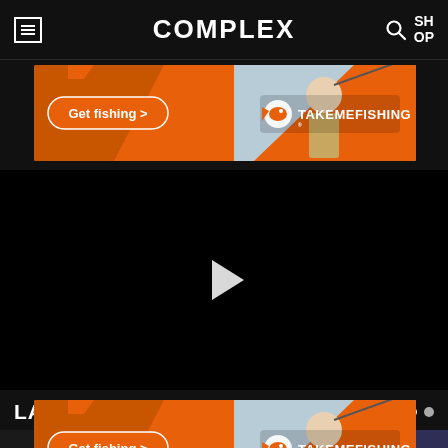COMPLEX
[Figure (screenshot): TakeMeFishing advertisement banner with woman fishing and orange background. Text: 'Get fishing >' and 'TAKEMEFISHING' logo.]
[Figure (screenshot): Black video player area with white play triangle button in center.]
LATEST EPISODES
[Figure (screenshot): Row of three video episode thumbnails below Latest Episodes heading.]
[Figure (screenshot): TakeMeFishing advertisement banner (second instance) overlaying bottom of page. Text: 'Get fishing >' and 'TAKEMEFISHING' logo.]